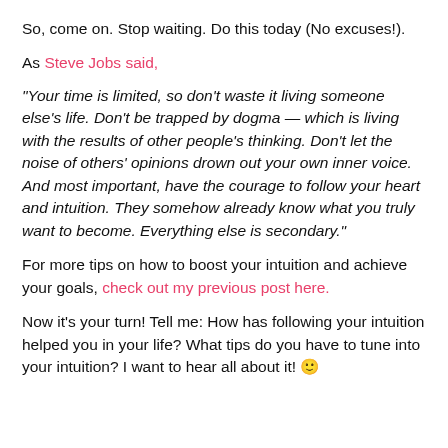So, come on. Stop waiting. Do this today (No excuses!).
As Steve Jobs said,
“Your time is limited, so don’t waste it living someone else’s life. Don’t be trapped by dogma — which is living with the results of other people’s thinking. Don’t let the noise of others’ opinions drown out your own inner voice. And most important, have the courage to follow your heart and intuition. They somehow already know what you truly want to become. Everything else is secondary.”
For more tips on how to boost your intuition and achieve your goals, check out my previous post here.
Now it’s your turn! Tell me: How has following your intuition helped you in your life? What tips do you have to tune into your intuition? I want to hear all about it! 🙂